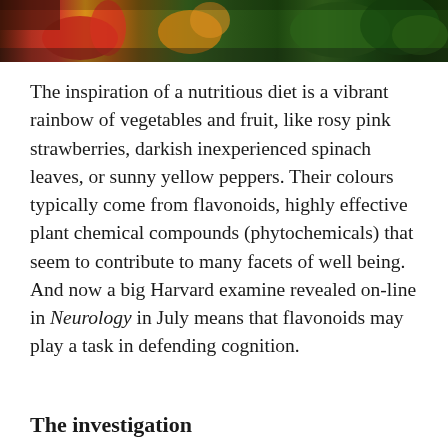[Figure (photo): A colorful arrangement of vegetables and fruits including red peppers, orange papaya, green vegetables and other produce against a dark background.]
The inspiration of a nutritious diet is a vibrant rainbow of vegetables and fruit, like rosy pink strawberries, darkish inexperienced spinach leaves, or sunny yellow peppers. Their colours typically come from flavonoids, highly effective plant chemical compounds (phytochemicals) that seem to contribute to many facets of well being. And now a big Harvard examine revealed on-line in Neurology in July means that flavonoids may play a task in defending cognition.
The investigation